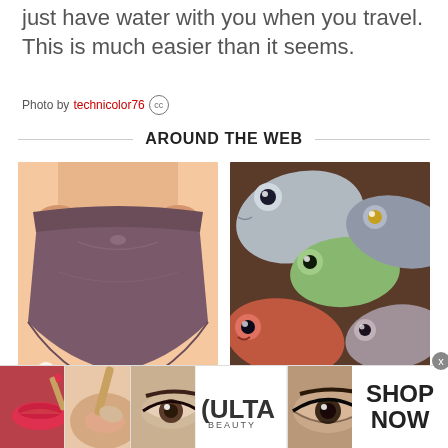just have water with you when you travel. This is much easier than it seems.
Photo by technicolor76 (cc)
AROUND THE WEB
[Figure (photo): Person holding purple/mauve women's underwear against a light peach background]
[Figure (photo): Close-up of multiple fresh fish heads piled together, showing eyes and colorful scales]
[Figure (photo): Advertisement banner showing makeup images with Ulta Beauty logo and SHOP NOW text]